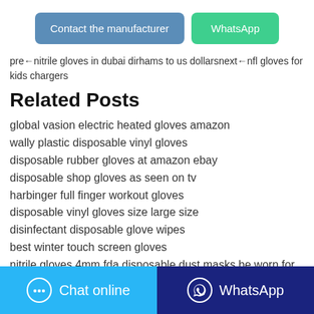[Figure (other): Two buttons: 'Contact the manufacturer' (blue) and 'WhatsApp' (green)]
pre←nitrile gloves in dubai dirhams to us dollarsnext←nfl gloves for kids chargers
Related Posts
global vasion electric heated gloves amazon
wally plastic disposable vinyl gloves
disposable rubber gloves at amazon ebay
disposable shop gloves as seen on tv
harbinger full finger workout gloves
disposable vinyl gloves size large size
disinfectant disposable glove wipes
best winter touch screen gloves
nitrile gloves 4mm fda disposable dust masks be worn for coronavirus
vinyl rubber for gloves manufacturing material made in
[Figure (other): Bottom bar with two buttons: 'Chat online' (light blue) and 'WhatsApp' (dark blue)]